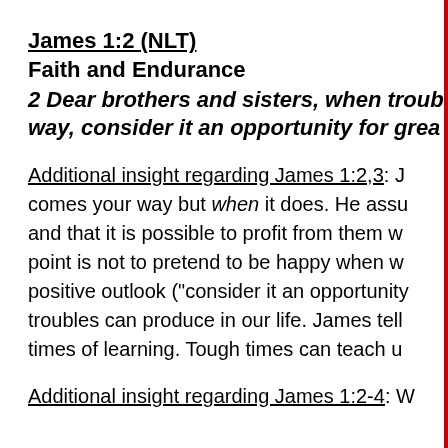James 1:2 (NLT)
Faith and Endurance
2 Dear brothers and sisters, when troubles of any kind come your way, consider it an opportunity for great joy.
Additional insight regarding James 1:2,3: James does not say if trouble comes your way but when it does. He assumes troubles will occur and that it is possible to profit from them with the right attitude. His point is not to pretend to be happy when we are in trouble but to have a positive outlook ("consider it an opportunity") because of what those troubles can produce in our life. James tells us that tough times are times of learning. Tough times can teach us patience and endurance.
Additional insight regarding James 1:2-4: W